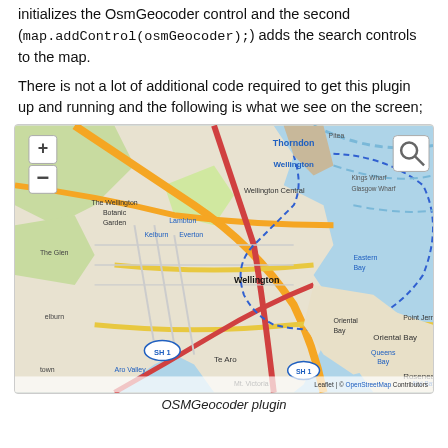initializes the OsmGeocoder control and the second (map.addControl(osmGeocoder);) adds the search controls to the map.
There is not a lot of additional code required to get this plugin up and running and the following is what we see on the screen;
[Figure (screenshot): A screenshot of a Leaflet map showing Wellington, New Zealand with an OSMGeocoder search plugin visible as a magnifying glass icon in the top right corner. The map shows Wellington Central, Te Aro, Oriental Bay, Roseneath, and surrounding suburbs. A blue dashed boundary line is visible around part of the city. Zoom controls (+/-) are in the top left. Attribution reads 'Leaflet | © OpenStreetMap Contributors'.]
OSMGeocoder plugin